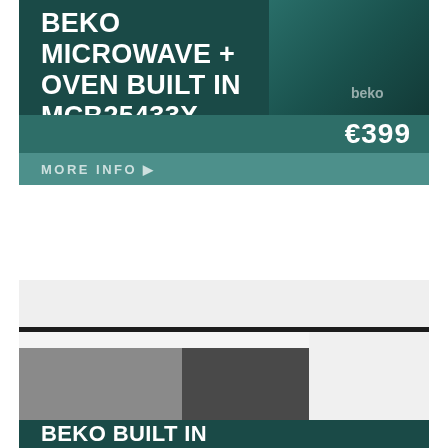BEKO MICROWAVE + OVEN BUILT IN MCB25433X
€399
MORE INFO ▶
[Figure (photo): Beko built-in appliance product photo, second card partial view showing grey appliance front]
BEKO BUILT IN